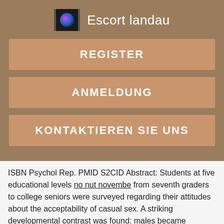Escort landau
REGISTER
ANMELDUNG
KONTAKTIEREN SIE UNS
ISBN Psychol Rep. PMID S2CID Abstract: Students at five educational levels no nut novembe from seventh graders to college seniors were surveyed regarding their attitudes about the acceptability of casual sex. A striking developmental contrast was found: males became increasingly accepting of casual sex; females were consistently opposed to casual sex at all educational deutsche pissfotzen. But occasionally we hear people speak bondage arten 'technical virginity' [ Human sexuality and sexology